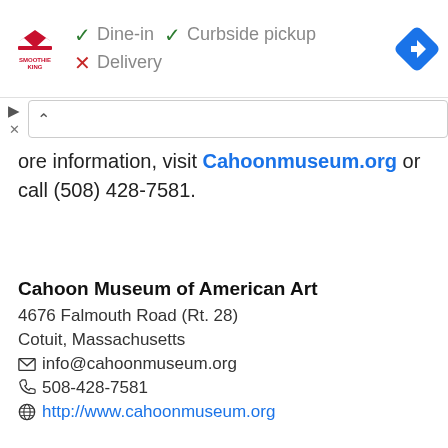[Figure (logo): Smoothie King logo and dine-in/curbside pickup/delivery options ad banner with navigation icon]
ore information, visit Cahoonmuseum.org or call (508) 428-7581.
Cahoon Museum of American Art
4676 Falmouth Road (Rt. 28)
Cotuit, Massachusetts
info@cahoonmuseum.org
508-428-7581
http://www.cahoonmuseum.org